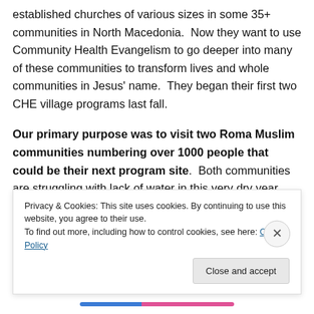established churches of various sizes in some 35+ communities in North Macedonia.  Now they want to use Community Health Evangelism to go deeper into many of these communities to transform lives and whole communities in Jesus' name.  They began their first two CHE village programs last fall.
Our primary purpose was to visit two Roma Muslim communities numbering over 1000 people that could be their next program site.  Both communities are struggling with lack of water in this very dry year.  The little
Privacy & Cookies: This site uses cookies. By continuing to use this website, you agree to their use.
To find out more, including how to control cookies, see here: Cookie Policy